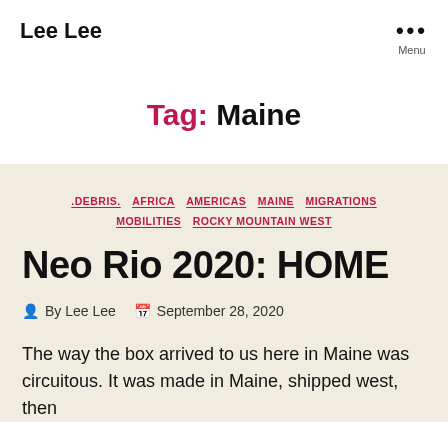Lee Lee
Tag: Maine
.DEBRIS.  AFRICA  AMERICAS  MAINE  MIGRATIONS  MOBILITIES  ROCKY MOUNTAIN WEST
Neo Rio 2020: HOME
By Lee Lee   September 28, 2020
The way the box arrived to us here in Maine was circuitous. It was made in Maine, shipped west, then